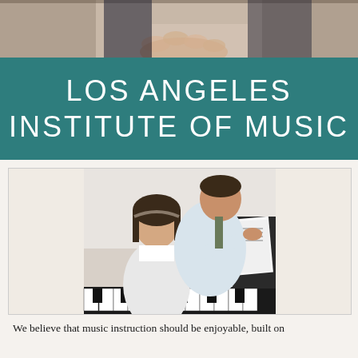[Figure (photo): Cropped top portion showing hands, likely playing piano or a musical instrument, dark background]
LOS ANGELES INSTITUTE OF MUSIC
[Figure (photo): A young woman and a male music instructor sitting at a piano, the instructor pointing at sheet music while the student looks at it]
We believe that music instruction should be enjoyable, built on